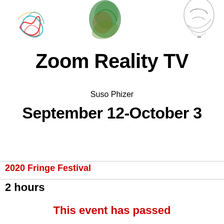[Figure (illustration): Three artistic sketches/drawings arranged horizontally at the top: left is a colorful scribble drawing with teal and red lines, center is a green and brown abstract sketch, right is a grayscale pencil sketch of a face or figure.]
Zoom Reality TV
Suso Phizer
September 12-October 3
2020 Fringe Festival
2 hours
This event has passed